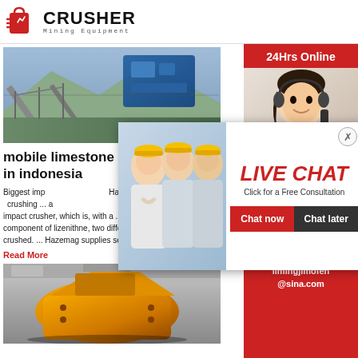[Figure (logo): Crusher Mining Equipment logo with red shopping bag icon and bold black CRUSHER text]
[Figure (photo): Photo of mining conveyor/crusher equipment in industrial outdoor setting with blue machinery]
mobile limestone impact crusher in indonesia
Biggest imp... Hazemag & crushing ... a impact crusher, which is, with a ... In addition to component of lizenithne, two different types of crushed. ... Hazemag supplies semi-mobile majo
Read More
[Figure (photo): Photo of yellow/orange impact crusher machine inside industrial building]
[Figure (photo): Live Chat popup with workers in hard hats photo, LIVE CHAT heading, Chat now and Chat later buttons]
[Figure (photo): Right sidebar with customer service agent with headset photo, 24Hrs Online label, Need questions & suggestion text, Chat Now button, Enquiry link, limingjlmofen@sina.com email]